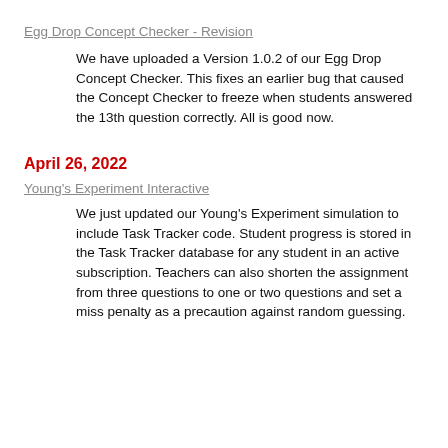Egg Drop Concept Checker - Revision
We have uploaded a Version 1.0.2 of our Egg Drop Concept Checker. This fixes an earlier bug that caused the Concept Checker to freeze when students answered the 13th question correctly. All is good now.
April 26, 2022
Young's Experiment Interactive
We just updated our Young's Experiment simulation to include Task Tracker code. Student progress is stored in the Task Tracker database for any student in an active subscription. Teachers can also shorten the assignment from three questions to one or two questions and set a miss penalty as a precaution against random guessing.